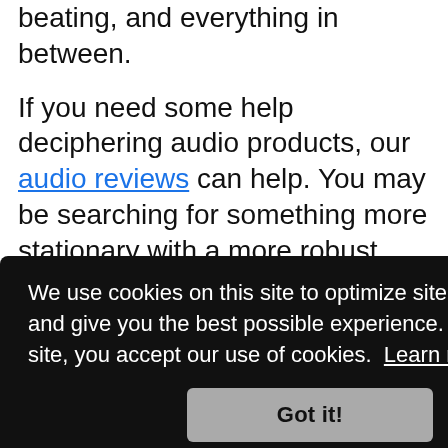smaller waterproof devices that can take a beating, and everything in between.
If you need some help deciphering audio products, our audio reviews can help. You may be searching for something more stationary with a more robust sound. If so, check into wireless speakers or bookshelf speakers. We've tested soundbars if you're hoping to enhance your movie-watching
We use cookies on this site to optimize site functionality and give you the best possible experience. By using this site, you accept our use of cookies. Learn more
Got it!
ore.
Editor's Note: This article was updated on June